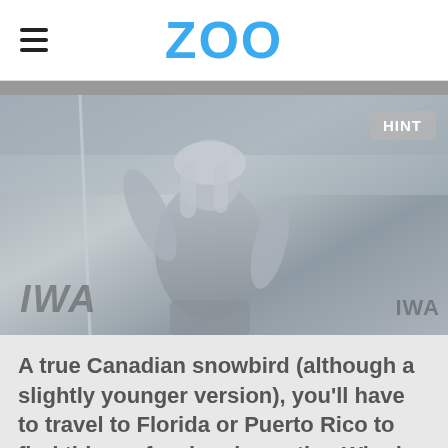ZOO
[Figure (photo): Grayscale photo of a muscular long-haired professional wrestler in a wrestling ring with IWA branding visible at the bottom. A HINT button appears in the top right corner of the image.]
A true Canadian snowbird (although a slightly younger version), you'll have to travel to Florida or Puerto Rico to find this professional wrestler. Who is the person in